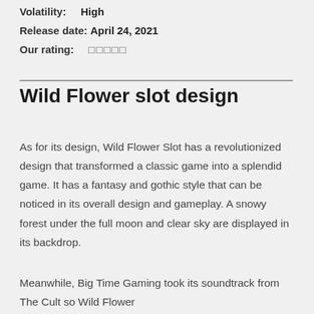Volatility: High
Release date: April 24, 2021
Our rating: ☆☆☆☆☆
Wild Flower slot design
As for its design, Wild Flower Slot has a revolutionized design that transformed a classic game into a splendid game. It has a fantasy and gothic style that can be noticed in its overall design and gameplay. A snowy forest under the full moon and clear sky are displayed in its backdrop.
Meanwhile, Big Time Gaming took its soundtrack from The Cult so Wild Flower